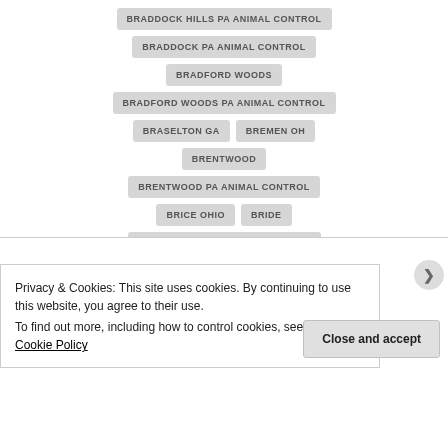BRADDOCK HILLS PA ANIMAL CONTROL
BRADDOCK PA ANIMAL CONTROL
BRADFORD WOODS
BRADFORD WOODS PA ANIMAL CONTROL
BRASELTON GA
BREMEN OH
BRENTWOOD
BRENTWOOD PA ANIMAL CONTROL
BRICE OHIO
BRIDE
BRIDGEVILLE PA ANIMAL CONTROL
BRIGHTON CO
BRIGHTON HEIGHTS
BRIGHTWOOD PA ANIMAL CONTROL
Privacy & Cookies: This site uses cookies. By continuing to use this website, you agree to their use.
To find out more, including how to control cookies, see here: Cookie Policy
Close and accept